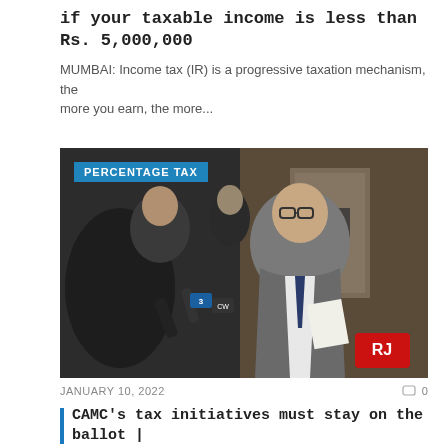if your taxable income is less than Rs. 5,000,000
MUMBAI: Income tax (IR) is a progressive taxation mechanism, the more you earn, the more...
[Figure (photo): A man in a grey suit holding papers being interviewed by reporters with microphones including a Channel 3 and CW mic, with an RJ branded microphone in the foreground. Blue label overlay reads 'PERCENTAGE TAX'.]
JANUARY 10, 2022   0
CAMC's tax initiatives must stay on the ballot | EDITORIAL